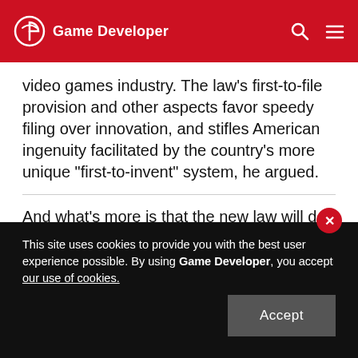Game Developer
video games industry. The law's first-to-file provision and other aspects favor speedy filing over innovation, and stifles American ingenuity facilitated by the country's more unique "first-to-invent" system, he argued.
And what's more is that the new law will do little to curb lawsuits filed by "non-practicing entities" that generate revenue by formulating or acquiring patents just for the sake of royalties or litigation, he said.
This site uses cookies to provide you with the best user experience possible. By using Game Developer, you accept our use of cookies.